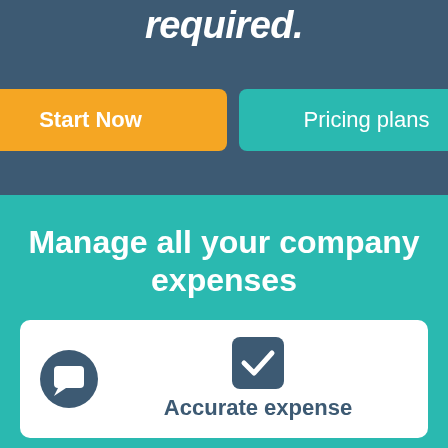required.
[Figure (screenshot): Two call-to-action buttons: 'Start Now' (orange) and 'Pricing plans' (teal)]
Manage all your company expenses
[Figure (infographic): White card with a dark circle chat icon on the left and a teal checkbox icon in the center, with 'Accurate expense' label below]